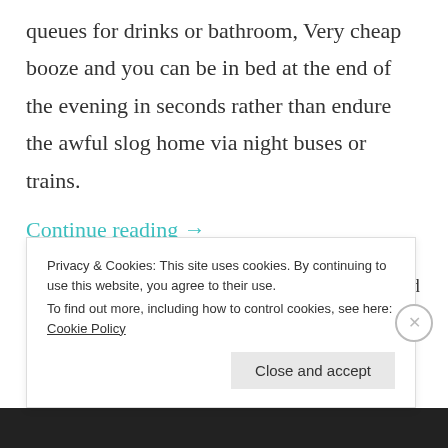queues for drinks or bathroom, Very cheap booze and you can be in bed at the end of the evening in seconds rather than endure the awful slog home via night buses or trains.
Continue reading →
Posted in Humour, Movies, Music, Musings / Tagged Brussels sprouts, Carly Simon, Christmas, Clubbing, Dancing, Friends, Humour, Introverts, Lust for Life, Musings, Saturday Night Fever, Socialising, The Smiths / 5
Privacy & Cookies: This site uses cookies. By continuing to use this website, you agree to their use. To find out more, including how to control cookies, see here: Cookie Policy
Close and accept